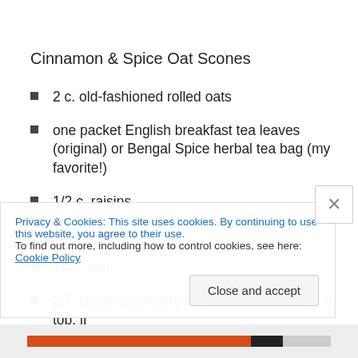Cinnamon & Spice Oat Scones
2 c. old-fashioned rolled oats
one packet English breakfast tea leaves (original) or Bengal Spice herbal tea bag (my favorite!)
1/2 c. raisins
1/2 t. baking soda
1/4 t. salt
2 T. sugar (turbinado is good for sprinkling on top, if
Privacy & Cookies: This site uses cookies. By continuing to use this website, you agree to their use.
To find out more, including how to control cookies, see here: Cookie Policy
Close and accept